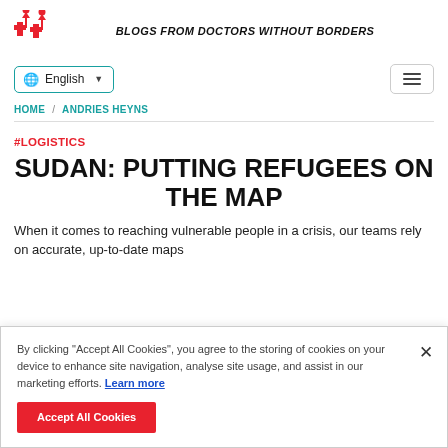BLOGS FROM DOCTORS WITHOUT BORDERS
English
HOME / ANDRIES HEYNS
#LOGISTICS
SUDAN: PUTTING REFUGEES ON THE MAP
When it comes to reaching vulnerable people in a crisis, our teams rely on accurate, up-to-date maps
By clicking "Accept All Cookies", you agree to the storing of cookies on your device to enhance site navigation, analyse site usage, and assist in our marketing efforts. Learn more